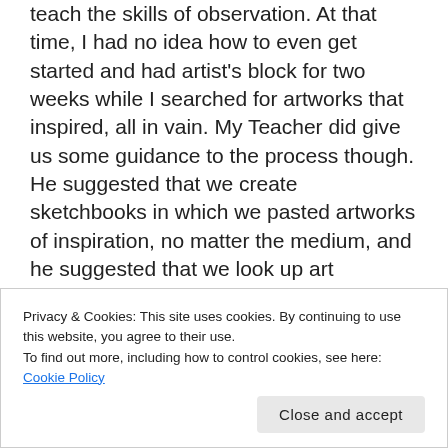teach the skills of observation. At that time, I had no idea how to even get started and had artist's block for two weeks while I searched for artworks that inspired, all in vain. My Teacher did give us some guidance to the process though. He suggested that we create sketchbooks in which we pasted artworks of inspiration, no matter the medium, and he suggested that we look up art magazines, such as Art in America. Pouring over art magazines and artist websites, such as Forum Gallery, I could think of nothing new to say with
Privacy & Cookies: This site uses cookies. By continuing to use this website, you agree to their use.
To find out more, including how to control cookies, see here: Cookie Policy